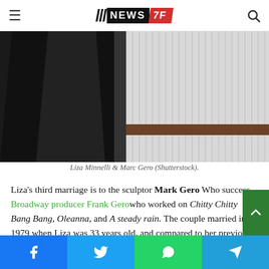NEWS 7F (navigation header with hamburger menu and search icon)
[Figure (photo): Black and white photo of Liza Minnelli and Marc Gero standing together. Liza on the left wearing black, Marc on the right wearing a white striped shirt.]
Liza Minnelli & Marc Gero (Shutterstock).
Liza's third marriage is to the sculptor Mark Gero Who success Broadway producer Frank Gerowho worked on Chitty Chitty Bang Bang, Oleanna, and A steady rain. The couple married in 1979 when Liza was 33 years old, and compared to her previous relationships, the two were very private. A 199…